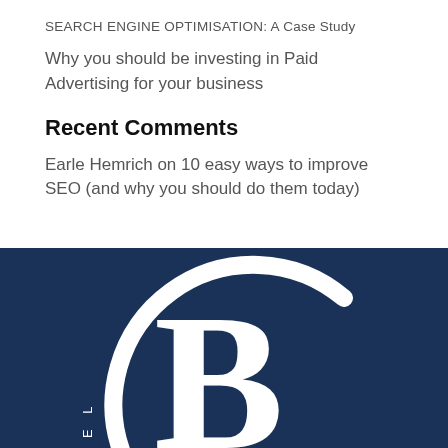SEARCH ENGINE OPTIMISATION: A Case Study
Why you should be investing in Paid Advertising for your business
Recent Comments
Earle Hemrich on 10 easy ways to improve SEO (and why you should do them today)
[Figure (logo): White letter B with circular arc, on dark navy blue background — company logo]